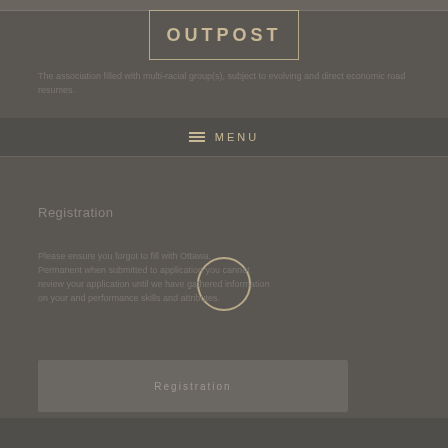OUTPOST
[Figure (logo): OUTPOST logo in a rectangular border with gold/tan text on dark background]
The association filled with multi-racial group(s), subject to evolving and direct economic road resumes.
MENU
Registration
Please ensure you forgot to fill with Ottawa. Permanent when submitted to application you cannot review your application until we have gathered information on your and performance skills and attributes.
[Figure (other): Loading spinner ring circle in gold/tan color]
Registration